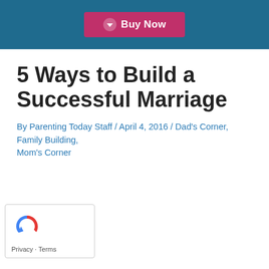Buy Now
5 Ways to Build a Successful Marriage
By Parenting Today Staff / April 4, 2016 / Dad's Corner, Family Building, Mom's Corner
[Figure (logo): reCAPTCHA logo with Privacy and Terms links]